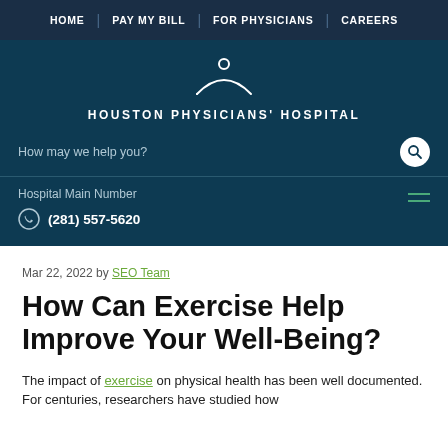HOME | PAY MY BILL | FOR PHYSICIANS | CAREERS
[Figure (logo): Houston Physicians' Hospital logo with white figure/arc icon above the text HOUSTON PHYSICIANS' HOSPITAL]
How may we help you?
Hospital Main Number
(281) 557-5620
Mar 22, 2022 by SEO Team
How Can Exercise Help Improve Your Well-Being?
The impact of exercise on physical health has been well documented. For centuries, researchers have studied how…